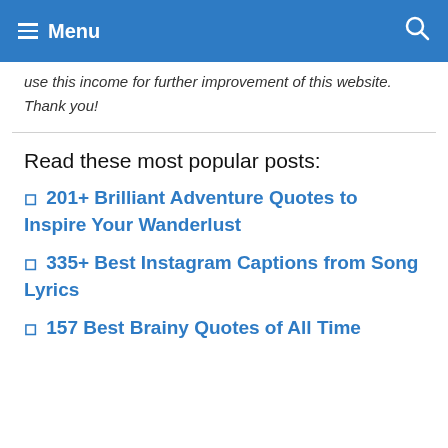Menu
use this income for further improvement of this website. Thank you!
Read these most popular posts:
🔷 201+ Brilliant Adventure Quotes to Inspire Your Wanderlust
🔷 335+ Best Instagram Captions from Song Lyrics
🔷 157 Best Brainy Quotes of All Time